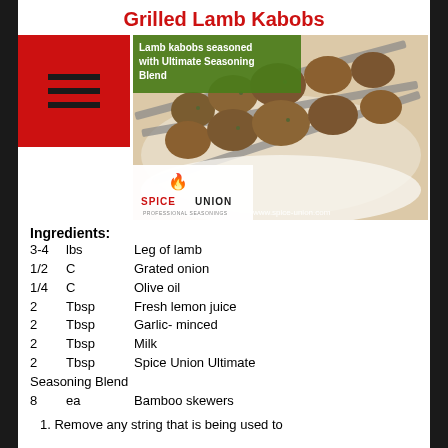Grilled Lamb Kabobs
[Figure (photo): Grilled lamb kabobs on skewers on a white plate, with Spice Union logo overlay and text 'Lamb kabobs seasoned with Ultimate Seasoning Blend']
Ingredients:
3-4   lbs   Leg of lamb
1/2   C   Grated onion
1/4   C   Olive oil
2   Tbsp   Fresh lemon juice
2   Tbsp   Garlic- minced
2   Tbsp   Milk
2   Tbsp   Spice Union Ultimate Seasoning Blend
8   ea   Bamboo skewers
1. Remove any string that is being used to